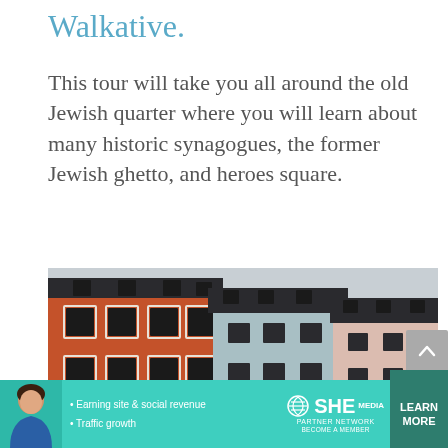Walkative.
This tour will take you all around the old Jewish quarter where you will learn about many historic synagogues, the former Jewish ghetto, and heroes square.
[Figure (photo): Colorful European building facades — red, light blue, and pink buildings with dark roofs and dormer windows, photographed from street level.]
• Earning site & social revenue  • Traffic growth  SHE PARTNER NETWORK BECOME A MEMBER  LEARN MORE